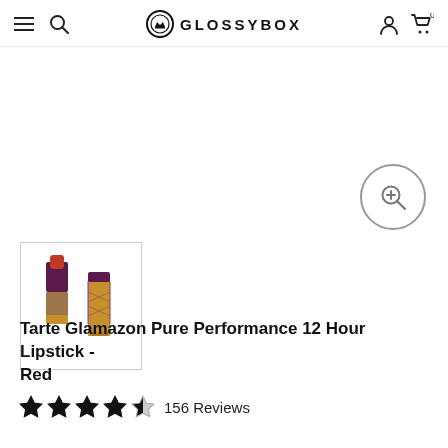GLOSSYBOX
[Figure (photo): Thumbnail of Tarte Glamazon lipstick product – an open red lipstick bullet next to a patterned gold/purple lipstick tube]
Tarte Glamazon Pure Performance 12 Hour Lipstick - Red
★★★★½ 156 Reviews